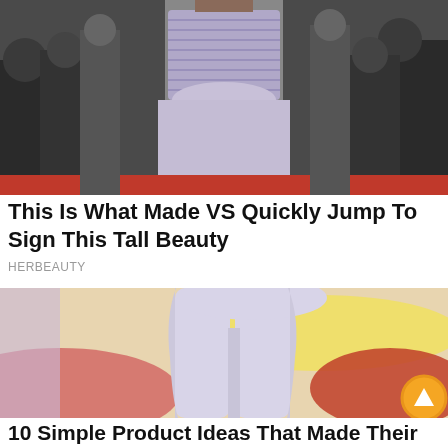[Figure (photo): Woman in silver/purple strapless dress at a red carpet event, crowd in background]
This Is What Made VS Quickly Jump To Sign This Tall Beauty
HERBEAUTY
[Figure (photo): Person wearing tight white/light lavender athletic shorts or leggings, shown from waist down, against a colorful abstract background with yellow, pink, and red paint strokes]
10 Simple Product Ideas That Made Their Creators Millionaires